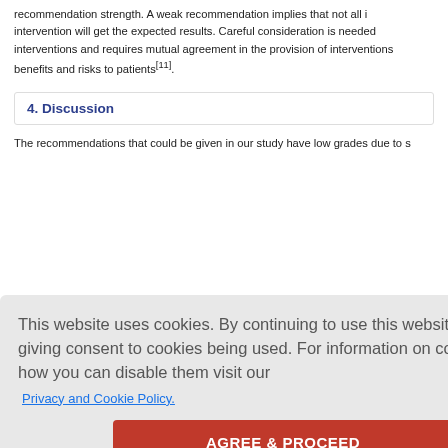recommendation strength. A weak recommendation implies that not all intervention will get the expected results. Careful consideration is needed interventions and requires mutual agreement in the provision of interventions benefits and risks to patients[11].
4. Discussion
The recommendations that could be given in our study have low grades due to so ralls bias ba to be used atients and ents.
ut before, na nent in all t o our study, ntervention pyrimetham ll studies are esponse, m
effects of the drug[15],[16],[17]
This website uses cookies. By continuing to use this website you are giving consent to cookies being used. For information on cookies and how you can disable them visit our Privacy and Cookie Policy. AGREE & PROCEED